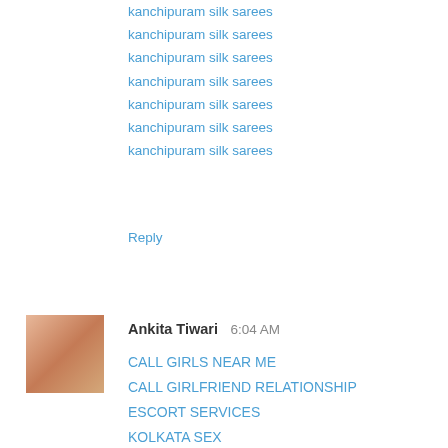kanchipuram silk sarees
kanchipuram silk sarees
kanchipuram silk sarees
kanchipuram silk sarees
kanchipuram silk sarees
kanchipuram silk sarees
kanchipuram silk sarees
Reply
Ankita Tiwari  6:04 AM
CALL GIRLS NEAR ME
CALL GIRLFRIEND RELATIONSHIP
ESCORT SERVICES
KOLKATA SEX
CALL GIRL IN KOLKATA
ESCORT SERVICE IN KOLKATA
GIRLS WHATAPP NUMBER
ONLINE GIRLS